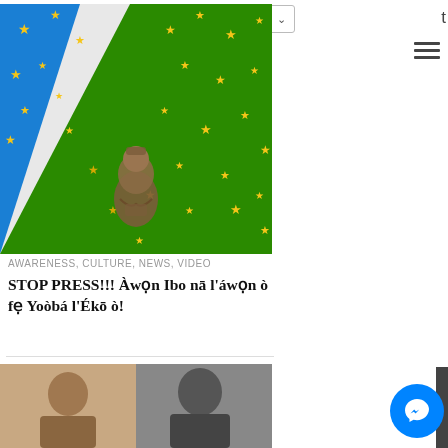English (language selector with UK flag and dropdown)
[Figure (illustration): A flag image divided diagonally into blue (top-left), white (center diagonal band), and green (bottom-right) sections, with gold stars and a bronze statue figure in the center. This appears to be the Lagos State flag.]
AWARENESS, CULTURE, NEWS, VIDEO
STOP PRESS!!! Àwọn Ibo nā l'áwọn ò fẹ Yoòbá l'Ékō ò!
[Figure (photo): A split photo showing two historical portrait photos side by side — one sepia-toned and one black-and-white, both showing men.]